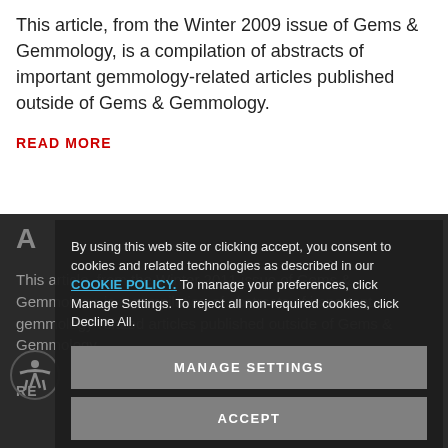This article, from the Winter 2009 issue of Gems & Gemmology, is a compilation of abstracts of important gemmology-related articles published outside of Gems & Gemmology.
READ MORE
A...
This article, from the Winter 2011 issue of Gems & Gemmology, is a compilation of abstracts of important gemmology-related articles published outside of Gems & Gemmology.
READ MORE
By using this web site or clicking accept, you consent to cookies and related technologies as described in our COOKIE POLICY. To manage your preferences, click Manage Settings. To reject all non-required cookies, click Decline All.
MANAGE SETTINGS
ACCEPT
DECLINE ALL
LOAD MORE